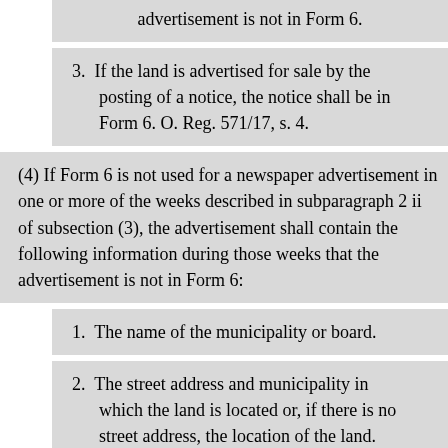advertisement is not in Form 6.
3. If the land is advertised for sale by the posting of a notice, the notice shall be in Form 6. O. Reg. 571/17, s. 4.
(4) If Form 6 is not used for a newspaper advertisement in one or more of the weeks described in subparagraph 2 ii of subsection (3), the advertisement shall contain the following information during those weeks that the advertisement is not in Form 6:
1. The name of the municipality or board.
2. The street address and municipality in which the land is located or, if there is no street address, the location of the land.